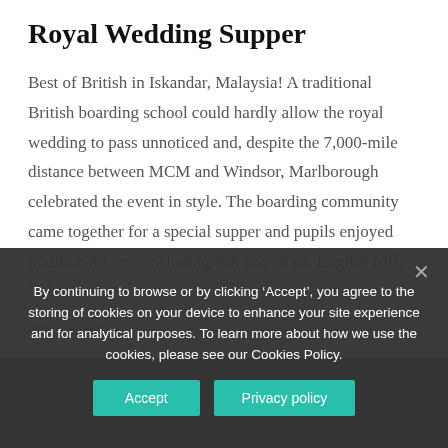Royal Wedding Supper
Best of British in Iskandar, Malaysia! A traditional British boarding school could hardly allow the royal wedding to pass unnoticed and, despite the 7,000-mile distance between MCM and Windsor, Marlborough celebrated the event in style. The boarding community came together for a special supper and pupils enjoyed traditional fayre, including fish and chips, English trifle [...]
READ MORE >
By continuing to browse or by clicking ‘Accept’, you agree to the storing of cookies on your device to enhance your site experience and for analytical purposes. To learn more about how we use the cookies, please see our Cookies Policy.